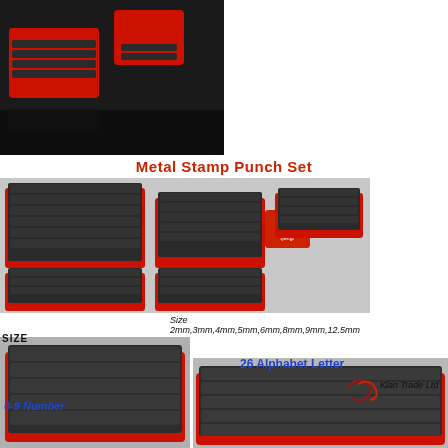[Figure (photo): Metal stamp punch sets stored in red plastic boxes with black metal stamps/punches visible, photographed on dark background]
Metal Stamp Punch Set
[Figure (photo): Multiple metal stamp punch sets arranged showing different sizes, in red plastic holders with black metal stamps, with a brand logo sticker visible]
Size
2mm,3mm,4mm,5mm,6mm,8mm,9mm,12.5mm
[Figure (photo): Close-up of large metal stamp punch set in red tray showing individual punch stamps]
SIZE
0-9 Number
[Figure (photo): Metal alphabet letter stamp punch set in red tray showing the 26 letter punches]
26 Alphabet Letter
Klan Trade Ltd